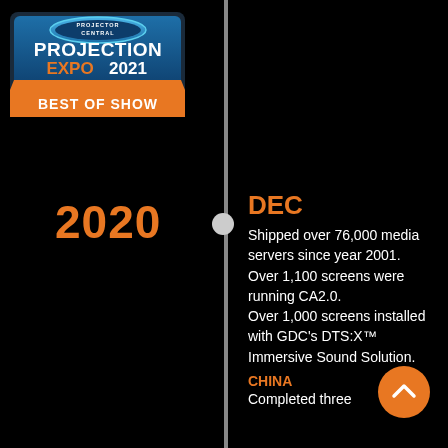[Figure (logo): Projector Central Projection Expo 2021 Best of Show award badge. Blue and orange design with oval logo at top reading PROJECTOR CENTRAL, blue background with PROJECTION EXPO 2021 text, orange banner ribbon at bottom reading BEST OF SHOW.]
2020
DEC
Shipped over 76,000 media servers since year 2001. Over 1,100 screens were running CA2.0. Over 1,000 screens installed with GDC's DTS:X™ Immersive Sound Solution.
CHINA
Completed three